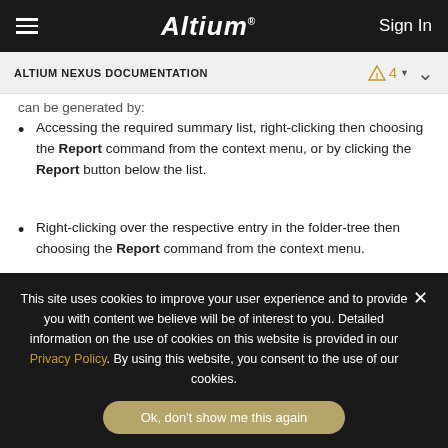Altium | Sign In
ALTIUM NEXUS DOCUMENTATION
can be generated by:
Accessing the required summary list, right-clicking then choosing the Report command from the context menu, or by clicking the Report button below the list.
Right-clicking over the respective entry in the folder-tree then choosing the Report command from the context menu.
The Report Preview dialog will open with the appropriate report already loaded. Use this dialog to inspect the report using various page/zoom
This site uses cookies to improve your user experience and to provide you with content we believe will be of interest to you. Detailed information on the use of cookies on this website is provided in our Privacy Policy. By using this website, you consent to the use of our cookies.
Ok, don't show me this again